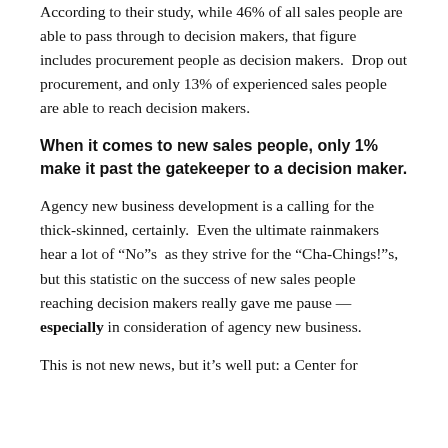According to their study, while 46% of all sales people are able to pass through to decision makers, that figure includes procurement people as decision makers.  Drop out procurement, and only 13% of experienced sales people are able to reach decision makers.
When it comes to new sales people, only 1% make it past the gatekeeper to a decision maker.
Agency new business development is a calling for the thick-skinned, certainly.  Even the ultimate rainmakers hear a lot of “No”s  as they strive for the “Cha-Chings!”s, but this statistic on the success of new sales people reaching decision makers really gave me pause —especially in consideration of agency new business.
This is not new news, but it’s well put: a Center for